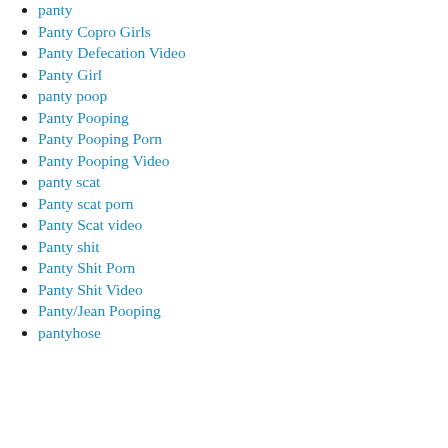panty
Panty Copro Girls
Panty Defecation Video
Panty Girl
panty poop
Panty Pooping
Panty Pooping Porn
Panty Pooping Video
panty scat
Panty scat porn
Panty Scat video
Panty shit
Panty Shit Porn
Panty Shit Video
Panty/Jean Pooping
pantyhose